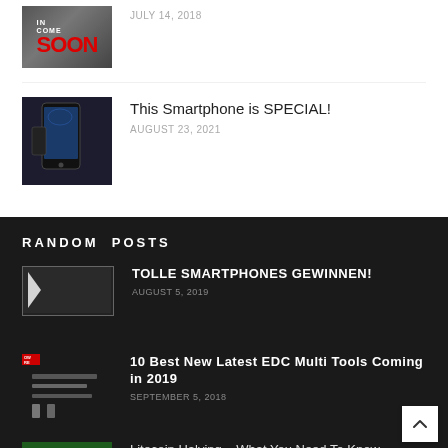[Figure (photo): Thumbnail showing 'COMING SOON' text overlay on dark background]
JULY 14, 2018
This Smartphone is SPECIAL!
[Figure (photo): Person holding a foldable smartphone]
AUGUST 23, 2021
RANDOM POSTS
[Figure (photo): Small broken image thumbnail]
TOLLE SMARTPHONES GEWINNEN!
AUGUST 5, 2019
[Figure (photo): EDC multi tools on dark background]
10 Best New Latest EDC Multi Tools Coming in 2019
SEPTEMBER 5, 2018
[Figure (photo): Litecoin coin image]
Litecoin Halving – What You Need To Know